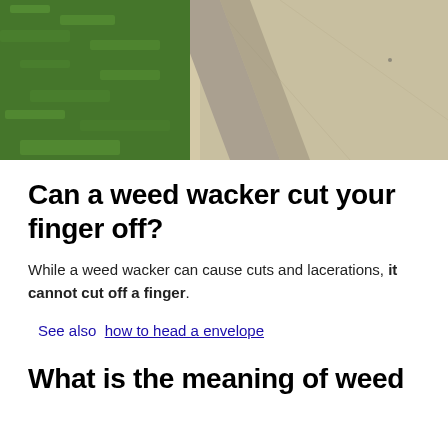[Figure (photo): Outdoor photo showing green grass lawn on the left and a concrete curb/sidewalk on the right, taken from above in sunlight.]
Can a weed wacker cut your finger off?
While a weed wacker can cause cuts and lacerations, it cannot cut off a finger.
See also  how to head a envelope
What is the meaning of weed